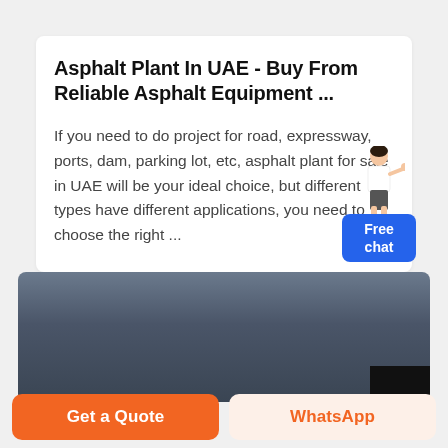Asphalt Plant In UAE - Buy From Reliable Asphalt Equipment ...
If you need to do project for road, expressway, ports, dam, parking lot, etc, asphalt plant for sale in UAE will be your ideal choice, but different types have different applications, you need to choose the right ...
[Figure (photo): Partial view of an asphalt plant or industrial equipment against a dusky sky, with a dark section in the bottom right corner.]
Get a Quote
WhatsApp